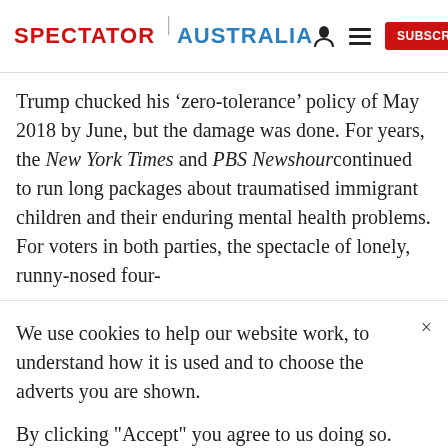SPECTATOR | AUSTRALIA
Trump chucked his ‘zero-tolerance’ policy of May 2018 by June, but the damage was done. For years, the New York Times and PBS Newshourcontinued to run long packages about traumatised immigrant children and their enduring mental health problems. For voters in both parties, the spectacle of lonely, runny-nosed four-
We use cookies to help our website work, to understand how it is used and to choose the adverts you are shown.
By clicking "Accept" you agree to us doing so. You can read more in our privacy policy.
Accept